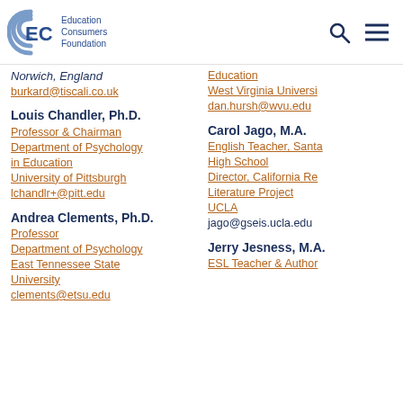ECF Education Consumers Foundation
Norwich, England
burkard@tiscali.co.uk
Louis Chandler, Ph.D.
Professor & Chairman
Department of Psychology in Education
University of Pittsburgh
lchandlr+@pitt.edu
Andrea Clements, Ph.D.
Professor
Department of Psychology
East Tennessee State University
clements@etsu.edu
Education
West Virginia University
dan.hursh@wvu.edu
Carol Jago, M.A.
English Teacher, Santa Monica High School
Director, California Reading & Literature Project
UCLA
jago@gseis.ucla.edu
Jerry Jesness, M.A.
ESL Teacher & Author